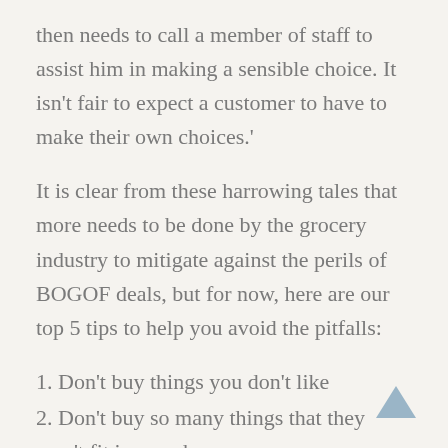then needs to call a member of staff to assist him in making a sensible choice. It isn't fair to expect a customer to have to make their own choices.'
It is clear from these harrowing tales that more needs to be done by the grocery industry to mitigate against the perils of BOGOF deals, but for now, here are our top 5 tips to help you avoid the pitfalls:
1. Don't buy things you don't like
2. Don't buy so many things that they won't fit in your house
3. Leave some money to buy things you actually need